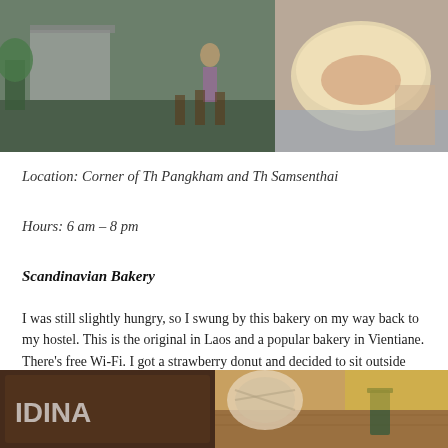[Figure (photo): Two photos at top: left shows a street food stall with people and equipment, right shows a close-up of bread/pastry being held]
Location: Corner of Th Pangkham and Th Samsenthai
Hours: 6 am – 8 pm
Scandinavian Bakery
I was still slightly hungry, so I swung by this bakery on my way back to my hostel. This is the original in Laos and a popular bakery in Vientiane. There's free Wi-Fi. I got a strawberry donut and decided to sit outside and slowly enjoy. There were tons of different Scandinavian pastries and breads to choose from. My donut was just so-so. It's not very sweet, but the filling just didn't taste fresh. It felt like artificial strawberry jam, and I was slightly disappointed considering I paid 8,000 Kip for it.
[Figure (photo): Two photos at bottom: left shows a bakery sign with partial text 'IDINA...', right shows a cafe table with drinks and decor]